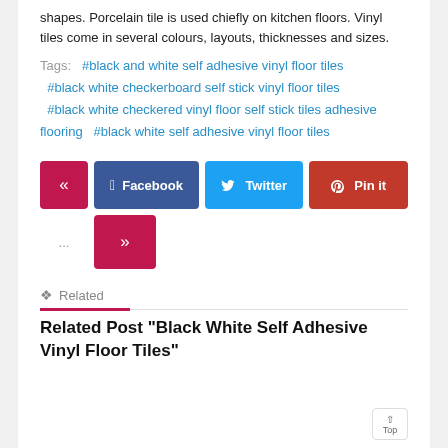shapes. Porcelain tile is used chiefly on kitchen floors. Vinyl tiles come in several colours, layouts, thicknesses and sizes.
Tags: #black and white self adhesive vinyl floor tiles #black white checkerboard self stick vinyl floor tiles #black white checkered vinyl floor self stick tiles adhesive flooring #black white self adhesive vinyl floor tiles
[Figure (other): Social sharing buttons: prev (<<), Facebook, Twitter, Pin it, and next (>>) navigation buttons]
Related
Related Post "Black White Self Adhesive Vinyl Floor Tiles"